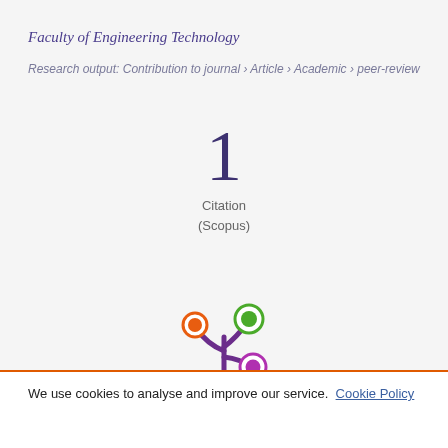Faculty of Engineering Technology
Research output: Contribution to journal › Article › Academic › peer-review
[Figure (infographic): Citation count: 1 Citation (Scopus)]
[Figure (logo): Altmetric flower logo with orange, green, and purple colored circles on purple stem branches]
We use cookies to analyse and improve our service. Cookie Policy